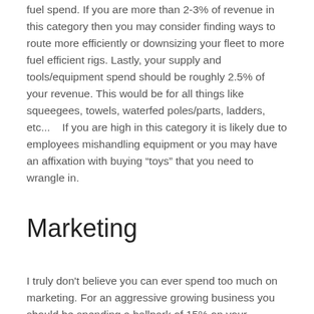fuel spend.  If you are more than 2-3% of revenue in this category then you may consider finding ways to route more efficiently or downsizing your fleet to more fuel efficient rigs.  Lastly, your supply and tools/equipment spend should be roughly 2.5% of your revenue.  This would be for all things like squeegees, towels, waterfed poles/parts, ladders, etc...   If you are high in this category it is likely due to employees mishandling equipment or you may have an affixation with buying “toys” that you need to wrangle in.
Marketing
I truly don't believe you can ever spend too much on marketing.  For an aggressive growing business you should be spending a ballpark of 15% on your marketing, but I know folks that push 20-25% if they